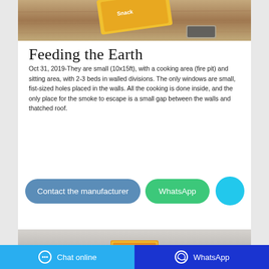[Figure (photo): Top portion of a photo showing a product package (corn/snack) on a wooden desk surface, partially cropped]
Feeding the Earth
Oct 31, 2019-They are small (10x15ft), with a cooking area (fire pit) and sitting area, with 2-3 beds in walled divisions. The only windows are small, fist-sized holes placed in the walls. All the cooking is done inside, and the only place for the smoke to escape is a small gap between the walls and thatched roof.
[Figure (other): Blue button labeled 'Contact the manufacturer']
[Figure (other): Green button labeled 'WhatsApp']
[Figure (other): Cyan circle button]
[Figure (photo): Bottom portion of a product photo showing an orange/yellow snack package on a light gray background, partially cropped]
Chat online   WhatsApp